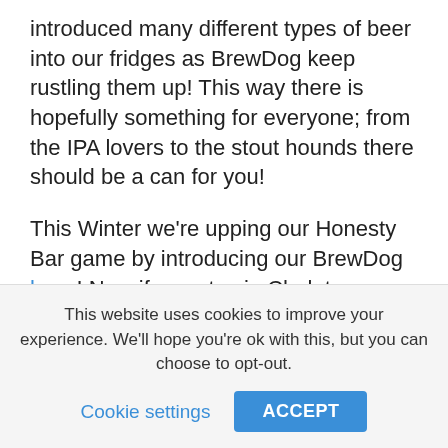introduced many different types of beer into our fridges as BrewDog keep rustling them up!  This way there is hopefully something for everyone; from the IPA lovers to the stout hounds there should be a can for you!
This Winter we're upping our Honesty Bar game by introducing our BrewDog kegs!  Now if you stay in Chalet Orshanti you can grab a keg (or two..) for the week and enjoy the novelty of pouring your own beer in our new Sports Bar and Games Room.  Better yet, if you book a group of ten or more to stay in Chalet Orshanti we will give you one for free!
We introduced the sale of BrewDog at our Après event
This website uses cookies to improve your experience. We'll hope you're ok with this, but you can choose to opt-out.
Cookie settings
ACCEPT